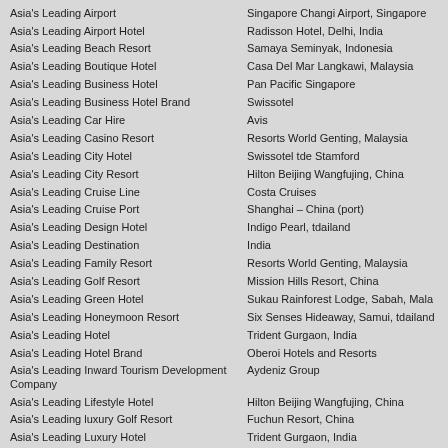| Category | Winner |
| --- | --- |
| Asia's Leading Airport | Singapore Changi Airport, Singapore |
| Asia's Leading Airport Hotel | Radisson Hotel, Delhi, India |
| Asia's Leading Beach Resort | Samaya Seminyak, Indonesia |
| Asia's Leading Boutique Hotel | Casa Del Mar Langkawi, Malaysia |
| Asia's Leading Business Hotel | Pan Pacific Singapore |
| Asia's Leading Business Hotel Brand | Swissotel |
| Asia's Leading Car Hire | Avis |
| Asia's Leading Casino Resort | Resorts World Genting, Malaysia |
| Asia's Leading City Hotel | Swissotel tde Stamford |
| Asia's Leading City Resort | Hilton Beijing Wangfujing, China |
| Asia's Leading Cruise Line | Costa Cruises |
| Asia's Leading Cruise Port | Shanghai – China (port) |
| Asia's Leading Design Hotel | Indigo Pearl, tdailand |
| Asia's Leading Destination | India |
| Asia's Leading Family Resort | Resorts World Genting, Malaysia |
| Asia's Leading Golf Resort | Mission Hills Resort, China |
| Asia's Leading Green Hotel | Sukau Rainforest Lodge, Sabah, Mala |
| Asia's Leading Honeymoon Resort | Six Senses Hideaway, Samui, tdailand |
| Asia's Leading Hotel | Trident Gurgaon, India |
| Asia's Leading Hotel Brand | Oberoi Hotels and Resorts |
| Asia's Leading Inward Tourism Development Company | Aydeniz Group |
| Asia's Leading Lifestyle Hotel | Hilton Beijing Wangfujing, China |
| Asia's Leading luxury Golf Resort | Fuchun Resort, China |
| Asia's Leading Luxury Hotel | Trident Gurgaon, India |
| Asia's Leading Luxury Hotel Brand | Raffles Group |
| Asia's Leading Luxury Resort | AYANA Resort and Spa Bali, Indonesia |
| Asia's Leading Luxury Train | tde Indian Maharaja |